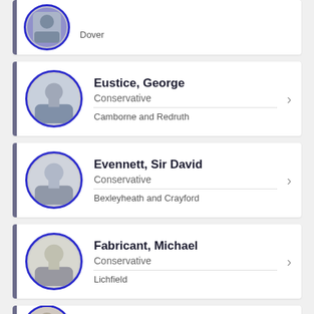Dover
Eustice, George | Conservative | Camborne and Redruth
Evennett, Sir David | Conservative | Bexleyheath and Crayford
Fabricant, Michael | Conservative | Lichfield
Fallon, Sir Michael